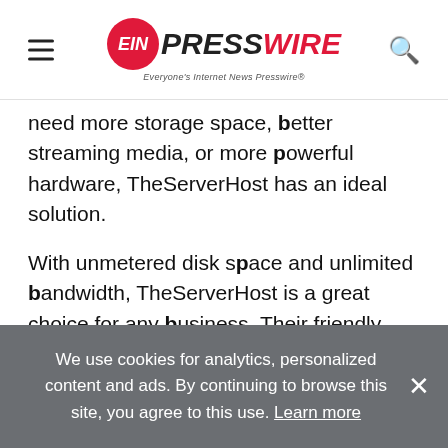EIN PRESSWIRE — Everyone's Internet News Presswire
need more storage space, better streaming media, or more powerful hardware, TheServerHost has an ideal solution.
With unmetered disk space and unlimited bandwidth, TheServerHost is a great choice for any business. Their friendly support staff is available round-the-clock. TheServerHost is also equipped with enterprise-grade hardware, making it an excellent choice for businesses that don't have in-
We use cookies for analytics, personalized content and ads. By continuing to browse this site, you agree to this use. Learn more